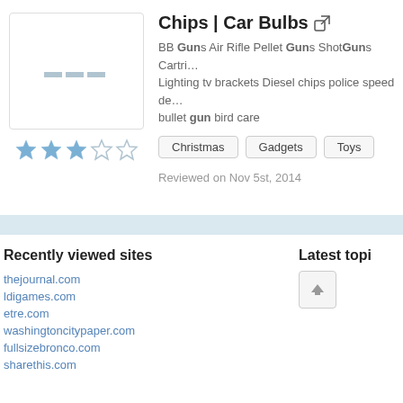[Figure (illustration): Gray placeholder image box with three small gray squares in the center]
[Figure (other): Star rating: 3 filled blue stars and 2 empty stars]
Chips | Car Bulbs
BB Guns Air Rifle Pellet Guns ShotGuns Cartridges Lighting tv brackets Diesel chips police speed de... bullet gun bird care
Christmas
Gadgets
Toys
Reviewed on Nov 5st, 2014
Recently viewed sites
thejournal.com
ldigames.com
etre.com
washingtoncitypaper.com
fullsizebronco.com
sharethis.com
Latest topics